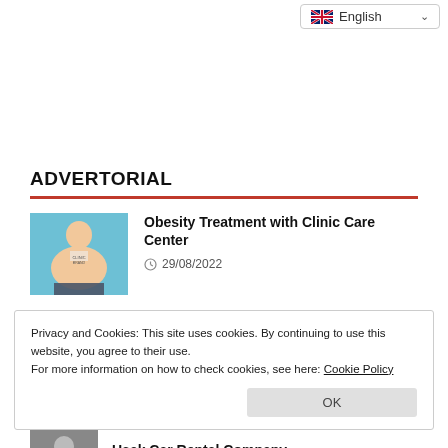English
ADVERTORIAL
Obesity Treatment with Clinic Care Center
29/08/2022
Privacy and Cookies: This site uses cookies. By continuing to use this website, you agree to their use.
For more information on how to check cookies, see here: Cookie Policy
OK
Usak Car Rental Company